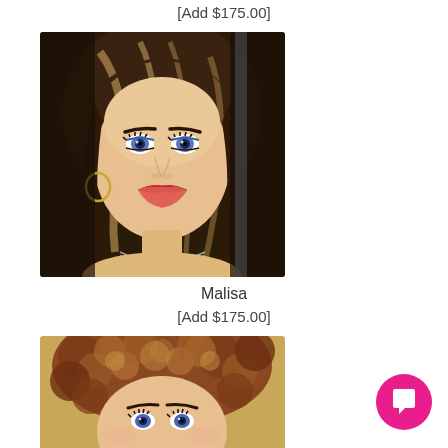[Add $175.00]
[Figure (photo): Close-up photo of a doll face with brunette/highlighted hair, blue eyes, red lips, hoop earring, and chain necklace]
Malisa
[Add $175.00]
[Figure (photo): Partial close-up photo of a doll face with curly auburn/blonde hair and blue eyes, cropped at bottom of page]